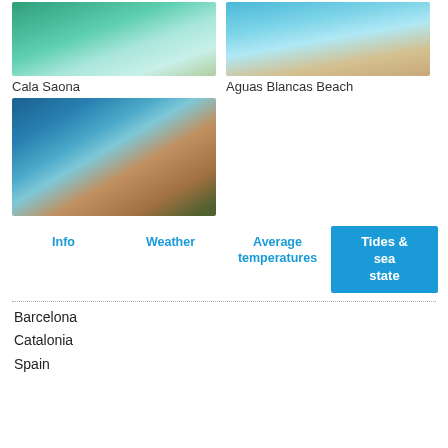[Figure (photo): Aerial photo of Cala Saona beach with turquoise water]
Cala Saona
[Figure (photo): Aerial photo of Aguas Blancas Beach with blue water and sandy shore]
Aguas Blancas Beach
[Figure (photo): Coastal landscape with mountains, bay and cactus plants in foreground]
Info
Weather
Average temperatures
Tides & sea state
Barcelona
Catalonia
Spain